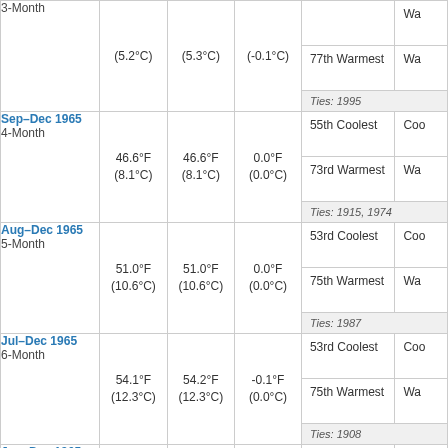| Period | Actual | Normal | Departure | Rank | Rank2 |
| --- | --- | --- | --- | --- | --- |
| 3-Month | (5.2°C) | (5.3°C) | (-0.1°C) | 77th Warmest | Wa... | Ties: 1995 |
| Sep–Dec 1965 / 4-Month | 46.6°F (8.1°C) | 46.6°F (8.1°C) | 0.0°F (0.0°C) | 55th Coolest | Coo... | 73rd Warmest | Wa... | Ties: 1915, 1974 |
| Aug–Dec 1965 / 5-Month | 51.0°F (10.6°C) | 51.0°F (10.6°C) | 0.0°F (0.0°C) | 53rd Coolest | Coo... | 75th Warmest | Wa... | Ties: 1987 |
| Jul–Dec 1965 / 6-Month | 54.1°F (12.3°C) | 54.2°F (12.3°C) | -0.1°F (0.0°C) | 53rd Coolest | Coo... | 75th Warmest | Wa... | Ties: 1908 |
| Jun–Dec 1965 / 7-Month | 55.5°F (13.1°C) | 55.7°F (13.2°C) | -0.2°F (-0.1°C) | 45th Coolest | Coo... | 83rd Warmest | Wa... |